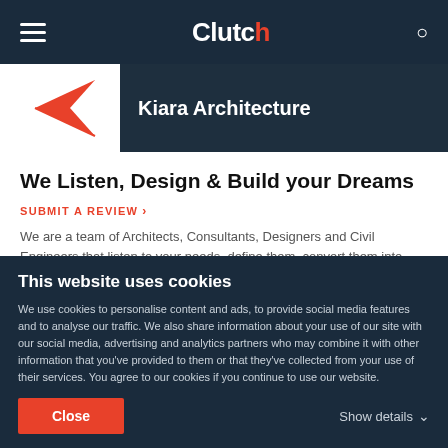Clutch
[Figure (logo): Kiara Architecture logo: red arrow/K shape on white background]
Kiara Architecture
We Listen, Design & Build your Dreams
SUBMIT A REVIEW >
We are a team of Architects, Consultants, Designers and Civil Engineers that listen to your needs, define them, convert them into attractive, innovative, cost effective design solutions and then Build them for you.
This website uses cookies
We use cookies to personalise content and ads, to provide social media features and to analyse our traffic. We also share information about your use of our site with our social media, advertising and analytics partners who may combine it with other information that you've provided to them or that they've collected from your use of their services. You agree to our cookies if you continue to use our website.
Close
Show details